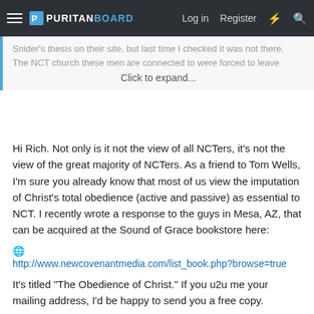PURITANBOARD — Log in  Register
Snider's thesis on their site, but last time I checked it was not there. The NCT church these men are connected to were forced to leave
Click to expand...
Hi Rich. Not only is it not the view of all NCTers, it's not the view of the great majority of NCTers. As a friend to Tom Wells, I'm sure you already know that most of us view the imputation of Christ's total obedience (active and passive) as essential to NCT. I recently wrote a response to the guys in Mesa, AZ, that can be acquired at the Sound of Grace bookstore here:
http://www.newcovenantmedia.com/list_book.php?browse=true
It's titled "The Obedience of Christ." If you u2u me your mailing address, I'd be happy to send you a free copy.
Your affectionate brother in Christ,